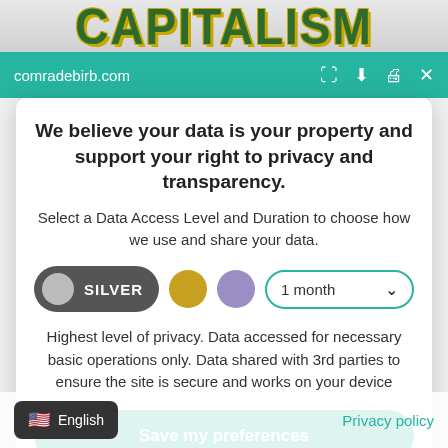[Figure (screenshot): Top banner showing 'CAPITALISM' text in green with gold shadow on grey background]
comradebirb.com
We believe your data is your property and support your right to privacy and transparency.
Select a Data Access Level and Duration to choose how we use and share your data.
[Figure (infographic): Privacy level selector with SILVER (dark pill button), gold circle, purple circle, and '1 month' dropdown]
Highest level of privacy. Data accessed for necessary basic operations only. Data shared with 3rd parties to ensure the site is secure and works on your device
Save my preferences
English
Privacy policy